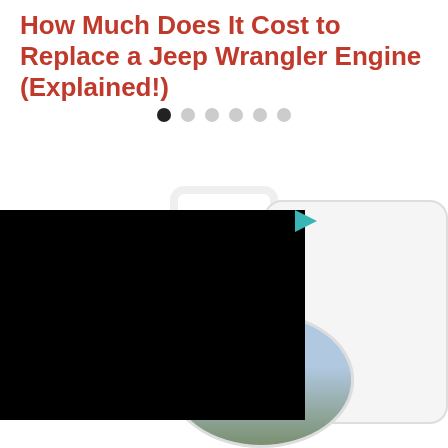How Much Does It Cost to Replace a Jeep Wrangler Engine (Explained!)
[Figure (other): Slider navigation dots: one filled dark dot and five lighter gray dots indicating a slideshow or carousel position indicator]
[Figure (photo): A composite image area showing a large black redacted/blacked-out video or image panel on the left, with a small teal play icon in the top-right of that panel, overlaid on a circular photo of a Jeep on a road/overlook with sky and hills in background, and a rounded rectangle card shape to the right.]